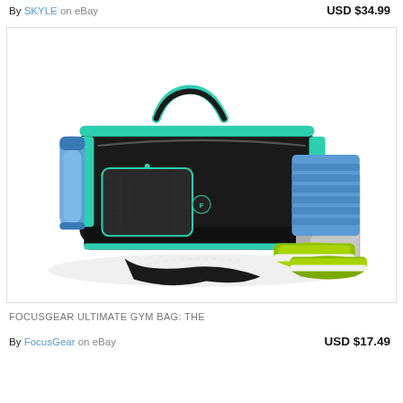By SKYLE on eBay    USD $34.99
[Figure (photo): A black and teal gym duffel bag open with blue towels, green/black sneakers in shoe compartment, water bottle on side, and resistance bands on the ground]
FOCUSGEAR ULTIMATE GYM BAG: THE
By FocusGear on eBay    USD $17.49